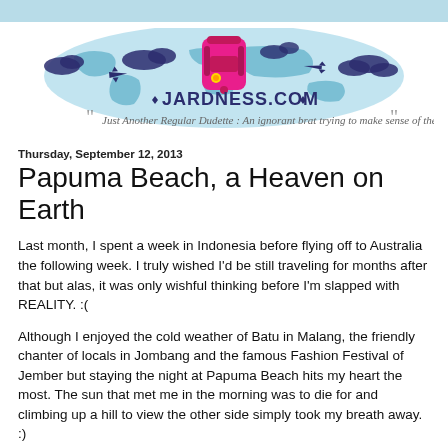[Figure (logo): Jardness.com travel blog header banner with world map in light blue, pink backpack in center, airplane silhouettes, navy cloud shapes, and tagline text below logo.]
Thursday, September 12, 2013
Papuma Beach, a Heaven on Earth
Last month, I spent a week in Indonesia before flying off to Australia the following week. I truly wished I'd be still traveling for months after that but alas, it was only wishful thinking before I'm slapped with REALITY. :(
Although I enjoyed the cold weather of Batu in Malang, the friendly chanter of locals in Jombang and the famous Fashion Festival of Jember but staying the night at Papuma Beach hits my heart the most. The sun that met me in the morning was to die for and climbing up a hill to view the other side simply took my breath away. :)